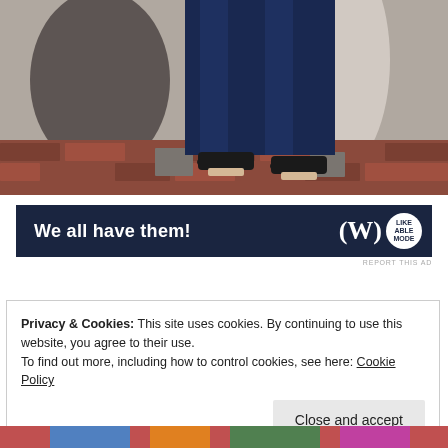[Figure (photo): Lower half of a person wearing dark navy jeans and black open-toe wedge sandals, standing on a brick/stone patterned floor against a painted concrete/brick wall with grey and black marks.]
[Figure (infographic): Dark navy blue advertisement banner reading 'We all have them!' with a large 'W' logo and a circular badge logo on the right side.]
REPORT THIS AD
Privacy & Cookies: This site uses cookies. By continuing to use this website, you agree to their use.
To find out more, including how to control cookies, see here: Cookie Policy
Close and accept
[Figure (photo): Partial view of a colorful image at the bottom of the page, cut off.]